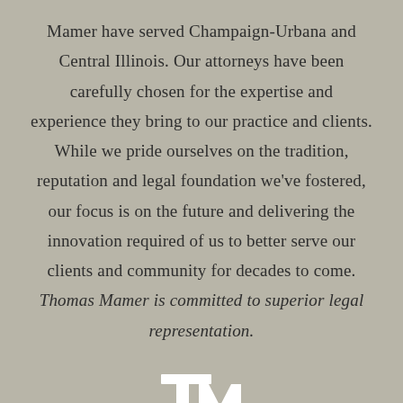Mamer have served Champaign-Urbana and Central Illinois. Our attorneys have been carefully chosen for the expertise and experience they bring to our practice and clients. While we pride ourselves on the tradition, reputation and legal foundation we've fostered, our focus is on the future and delivering the innovation required of us to better serve our clients and community for decades to come. Thomas Mamer is committed to superior legal representation.
[Figure (logo): Thomas Mamer law firm monogram logo — interlocked T and M letters in white]